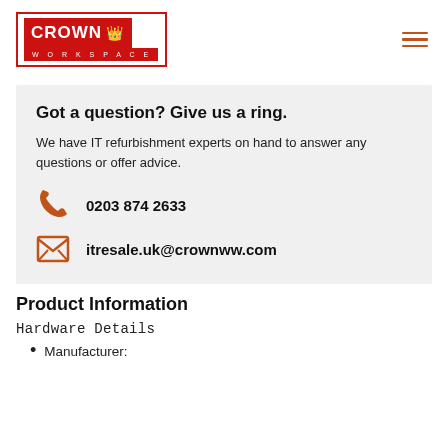Crown Workspace
Got a question? Give us a ring.
We have IT refurbishment experts on hand to answer any questions or offer advice.
0203 874 2633
itresale.uk@crownww.com
Product Information
Hardware Details
Manufacturer: